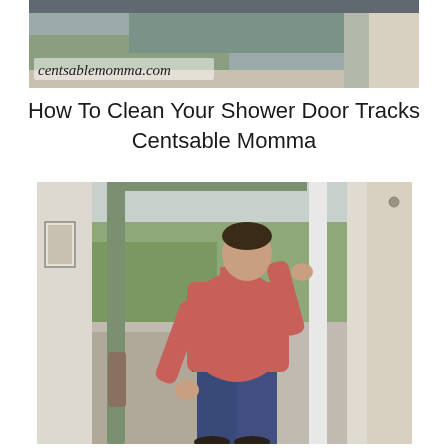[Figure (photo): Top banner photo showing a close-up of a sliding door track or rail, with website watermark 'centsablemomma.com' overlaid in the lower left]
How To Clean Your Shower Door Tracks
Centsable Momma
[Figure (photo): Man in a pink/red long-sleeve shirt and jeans removing or lifting a large green-framed screen door or storm door panel indoors, with a garden/yard visible through the glass behind him]